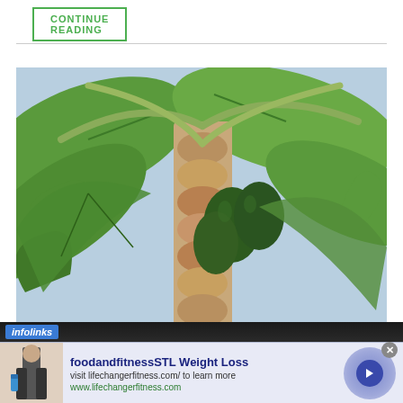CONTINUE READING
[Figure (photo): Papaya tree with large green leaves and unripe green papaya fruits hanging from the trunk, photographed from below looking up]
infolinks
foodandfitnessSTL Weight Loss
visit lifechangerfitness.com/ to learn more
www.lifechangerfitness.com